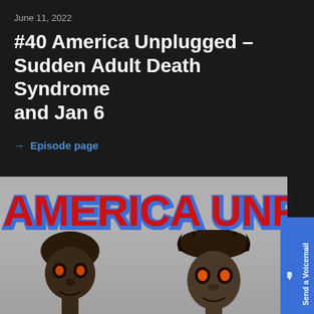June 11, 2022
#40 America Unplugged – Sudden Adult Death Syndrome and Jan 6
→ Episode page
[Figure (photo): America Unplugged podcast cover image showing large red block letters reading 'AMERICA UNPLUGGED' with blue outline/shadow on a gray background, and two human-like puppet/zombie figures at the bottom.]